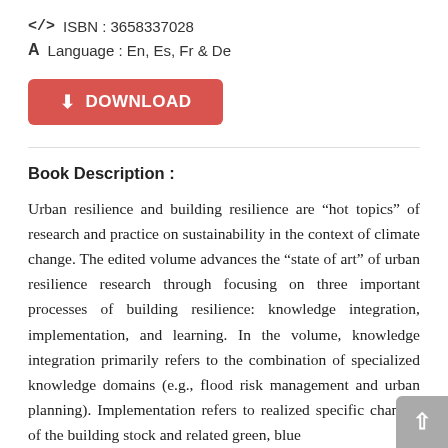ISBN : 3658337028
Language : En, Es, Fr & De
[Figure (other): Red DOWNLOAD button with download icon]
Book Description :
Urban resilience and building resilience are “hot topics” of research and practice on sustainability in the context of climate change. The edited volume advances the “state of art” of urban resilience research through focusing on three important processes of building resilience: knowledge integration, implementation, and learning. In the volume, knowledge integration primarily refers to the combination of specialized knowledge domains (e.g., flood risk management and urban planning). Implementation refers to realized specific changes of the building stock and related green, blue